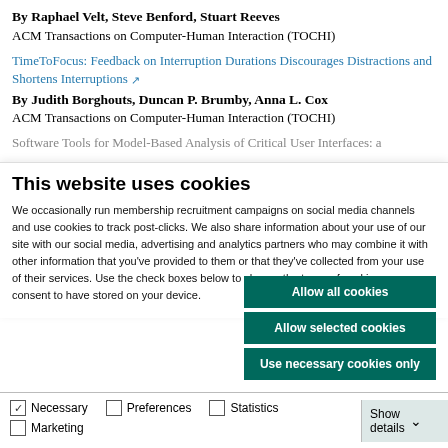By Raphael Velt, Steve Benford, Stuart Reeves
ACM Transactions on Computer-Human Interaction (TOCHI)
TimeToFocus: Feedback on Interruption Durations Discourages Distractions and Shortens Interruptions
By Judith Borghouts, Duncan P. Brumby, Anna L. Cox
ACM Transactions on Computer-Human Interaction (TOCHI)
Software Tools for Model-Based Analysis of Critical User Interfaces: a
This website uses cookies
We occasionally run membership recruitment campaigns on social media channels and use cookies to track post-clicks. We also share information about your use of our site with our social media, advertising and analytics partners who may combine it with other information that you've provided to them or that they've collected from your use of their services. Use the check boxes below to choose the types of cookies you consent to have stored on your device.
Allow all cookies
Allow selected cookies
Use necessary cookies only
Necessary
Preferences
Statistics
Marketing
Show details